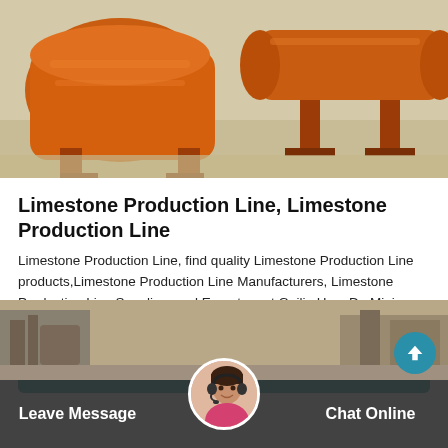[Figure (photo): Industrial orange-colored mining machinery (limestone production line equipment) in a factory/workshop setting]
Limestone Production Line, Limestone Production Line
Limestone Production Line, find quality Limestone Production Line products,Limestone Production Line Manufacturers, Limestone Production Line Suppliers and Exporters at Guilin HangDa Mining Machinery Co., Ltd
Get Price
[Figure (photo): Background photo of machinery in industrial setting, partially visible at bottom of page]
Leave Message
Chat Online